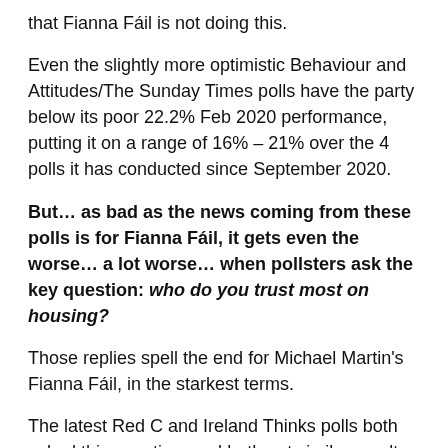that Fianna Fáil is not doing this.
Even the slightly more optimistic Behaviour and Attitudes/The Sunday Times polls have the party below its poor 22.2% Feb 2020 performance, putting it on a range of 16% – 21% over the 4 polls it has conducted since September 2020.
But… as bad as the news coming from these polls is for Fianna Fáil, it gets even the worse… a lot worse… when pollsters ask the key question: who do you trust most on housing?
Those replies spell the end for Michael Martin's Fianna Fáil, in the starkest terms.
The latest Red C and Ireland Thinks polls both asked this question, and both got similar results, albeit from differing sets of numbers.